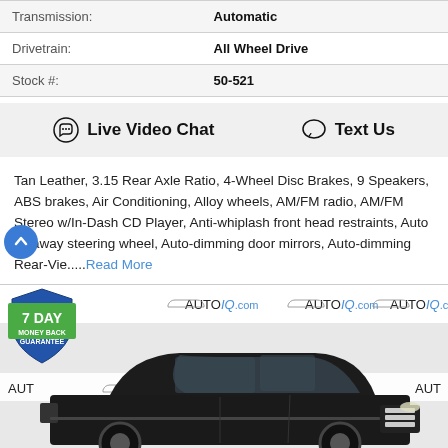| Transmission: | Automatic |
| Drivetrain: | All Wheel Drive |
| Stock #: | 50-521 |
Live Video Chat   Text Us
Tan Leather, 3.15 Rear Axle Ratio, 4-Wheel Disc Brakes, 9 Speakers, ABS brakes, Air Conditioning, Alloy wheels, AM/FM radio, AM/FM Stereo w/In-Dash CD Player, Anti-whiplash front head restraints, Auto tilt-away steering wheel, Auto-dimming door mirrors, Auto-dimming Rear-Vie.....Read More
[Figure (photo): Black SUV (Lincoln MKC or similar) on AutoIQ.com branded background with 7 Day Money Back Guarantee badge]